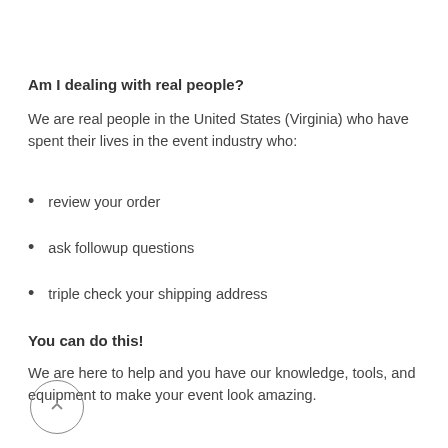Am I dealing with real people?
We are real people in the United States (Virginia) who have spent their lives in the event industry who:
review your order
ask followup questions
triple check your shipping address
You can do this!
We are here to help and you have our knowledge, tools, and equipment to make your event look amazing.